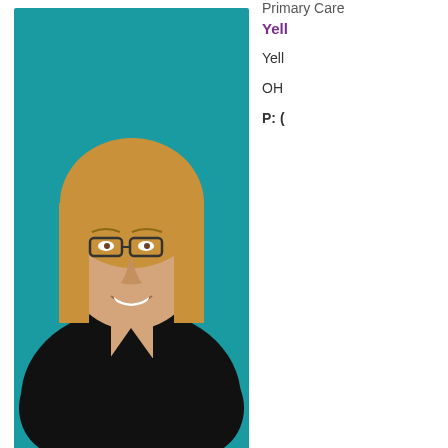[Figure (photo): Professional headshot of a woman with long blonde hair, glasses, wearing a black top, against a teal background]
Primary Care
Yell
OH
P: (
[Figure (photo): Professional headshot of Dr. Stefanie K. Lewis MD, a woman with hair pulled back, wearing glasses and a white coat, against a gray gradient background]
Stefanie K. Lewis MD
Family Medicine
Primary Care
Fain
Car
Fair
453
P: (